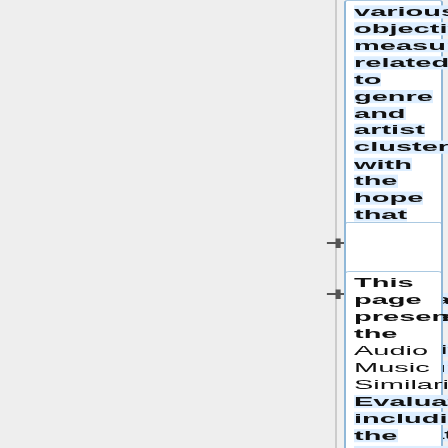various objective measures related to genre and artist clustering, with the hope that we will find some correlation between these objective measures and the human evaluations.
This page presents the Audio Music Similarity Evaluation, including the submission rules and formats. Additionally background information can be found here that